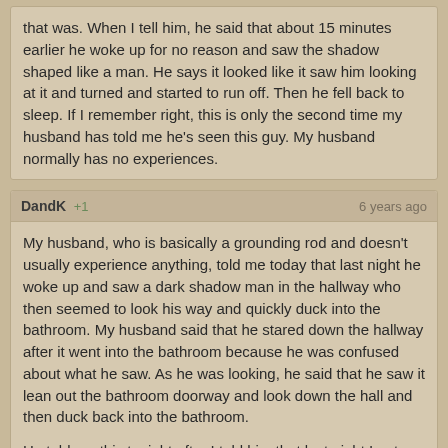that was. When I tell him, he said that about 15 minutes earlier he woke up for no reason and saw the shadow shaped like a man. He says it looked like it saw him looking at it and turned and started to run off. Then he fell back to sleep. If I remember right, this is only the second time my husband has told me he's seen this guy. My husband normally has no experiences.
DandK +1 | 6 years ago
My husband, who is basically a grounding rod and doesn't usually experience anything, told me today that last night he woke up and saw a dark shadow man in the hallway who then seemed to look his way and quickly duck into the bathroom. My husband said that he stared down the hallway after it went into the bathroom because he was confused about what he saw. As he was looking, he said that he saw it lean out the bathroom doorway and look down the hall and then duck back into the bathroom.
He told me this tonight after I told him that last night I got up at about 4 am to turn on the house fan because it was stuffy. The whole time I was walking in the dark (I usually don't turn on lights) I had the very strong feeling that I should not look into